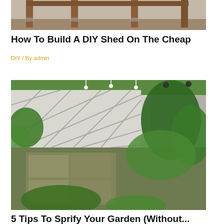[Figure (photo): Top portion of a DIY shed construction image showing wooden frame posts on bare dirt ground]
How To Build A DIY Shed On The Cheap
DIY / By admin
[Figure (photo): A lush garden with green plants, lattice diamond-pattern concrete wall, and stone paving visible from above]
5 Tips To Sprify Your Garden (Without...